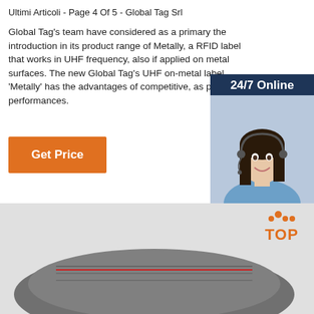Ultimi Articoli - Page 4 Of 5 - Global Tag Srl
Global Tag's team have considered as a primary the introduction in its product range of Metally, a RFID label that works in UHF frequency, also if applied on metal surfaces. The new Global Tag's UHF on-metal label 'Metally' has the advantages of competitive, as price and performances.
[Figure (other): Orange 'Get Price' button]
[Figure (other): 24/7 Online chat widget with photo of woman wearing headset, 'Click here for free chat!' text, and orange QUOTATION button]
[Figure (other): Bottom section showing a product strap/band image with orange TOP logo in the lower right corner]